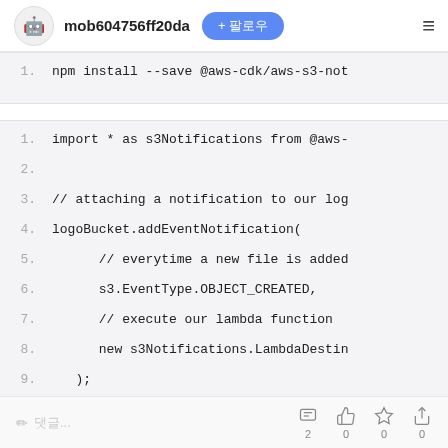mob604756ff20da  + 팔로우  ☰
[Figure (screenshot): Code block 1: line 1 shows 'npm install --save @aws-cdk/aws-s3-not']
[Figure (screenshot): Code block 2: lines 1-9 showing import and logoBucket.addEventNotification code]
✏ 댓글...  💬 2  👍 0  ☆ 0  ↗ 0